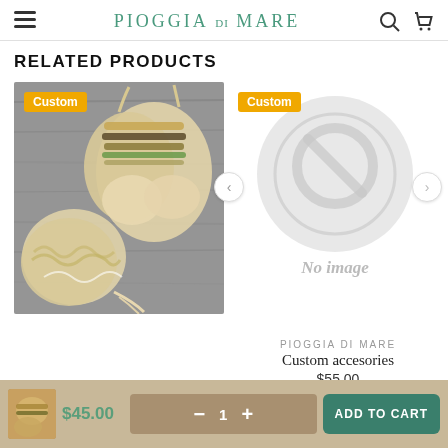PIOGGIA DI MARE
RELATED PRODUCTS
[Figure (photo): Beige bikini set with beaded embellishments on a wooden surface, shown with Custom badge]
[Figure (photo): No image placeholder with circular icon, Custom badge, showing product: Custom accesories by PIOGGIA DI MARE, $55.00]
PIOGGIA DI MARE
Custom accesories
$55.00
$45.00  1  ADD TO CART